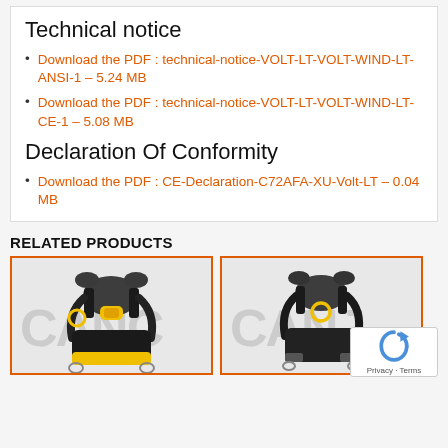Technical notice
Download the PDF : technical-notice-VOLT-LT-VOLT-WIND-LT-ANSI-1 – 5.24 MB
Download the PDF : technical-notice-VOLT-LT-VOLT-WIND-LT-CE-1 – 5.08 MB
Declaration Of Conformity
Download the PDF : CE-Declaration-C72AFA-XU-Volt-LT – 0.04 MB
RELATED PRODUCTS
[Figure (photo): Safety harness product photo - yellow and black harness (left)]
[Figure (photo): Safety harness product photo - black harness with yellow ring (right)]